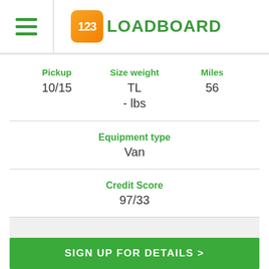[Figure (logo): 123Loadboard logo with orange box containing '123' and green text 'LOADBOARD']
| Pickup | Size weight | Miles |
| --- | --- | --- |
| 10/15 | TL
- lbs | 56 |
Equipment type
Van
Credit Score
97/33
SIGN UP FOR DETAILS >